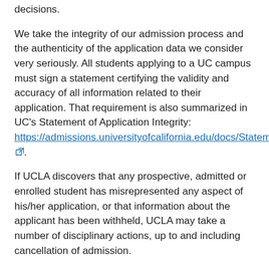decisions.
We take the integrity of our admission process and the authenticity of the application data we consider very seriously. All students applying to a UC campus must sign a statement certifying the validity and accuracy of all information related to their application. That requirement is also summarized in UC's Statement of Application Integrity: https://admissions.universityofcalifornia.edu/docs/Statement….
If UCLA discovers that any prospective, admitted or enrolled student has misrepresented any aspect of his/her application, or that information about the applicant has been withheld, UCLA may take a number of disciplinary actions, up to and including cancellation of admission.